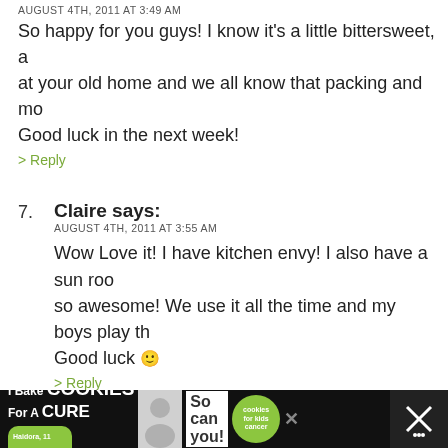AUGUST 4TH, 2011 AT 3:49 AM
So happy for you guys! I know it's a little bittersweet, at your old home and we all know that packing and mo… Good luck in the next week!
> Reply
7. Claire says: AUGUST 4TH, 2011 AT 3:55 AM
Wow Love it! I have kitchen envy! I also have a sun roo… so awesome! We use it all the time and my boys play th… Good luck 🙂
> Reply
8. Katie says: AUGUST 4TH, 2011 AT 4:21 AM
Congratulations! I hope it all works out for you guys.
> Reply
[Figure (other): Advertisement banner: I Bake COOKIES For A CURE - So can you! cookies for kids cancer]